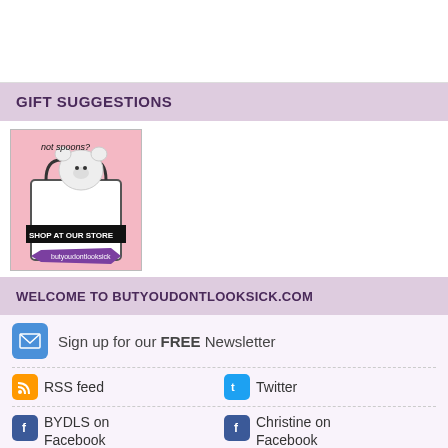GIFT SUGGESTIONS
[Figure (photo): Shop image showing a white teddy bear with text 'not spoons?' and 'SHOP AT OUR STORE' with a purple ribbon banner]
WELCOME TO BUTYOUDONTLOOKSICK.COM
Sign up for our FREE Newsletter
RSS feed
Twitter
BYDLS on Facebook
Christine on Facebook
MySpace
LinkedIn